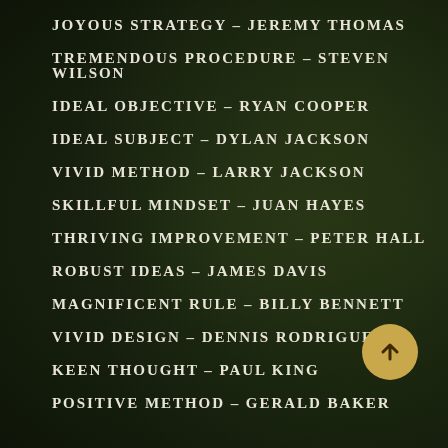JOYOUS STRATEGY – JEREMY THOMAS
TREMENDOUS PROCEDURE – STEVEN WILSON
IDEAL OBJECTIVE – RYAN COOPER
IDEAL SUBJECT – DYLAN JACKSON
VIVID METHOD – LARRY JACKSON
SKILLFUL MINDSET – JUAN HAYES
THRIVING IMPROVEMENT – PETER HALL
ROBUST IDEAS – JAMES DAVIS
MAGNIFICENT RULE – BILLY BENNETT
VIVID DESIGN – DENNIS RODRIGUEZ
KEEN THOUGHT – PAUL KING
POSITIVE METHOD – GERALD BAKER